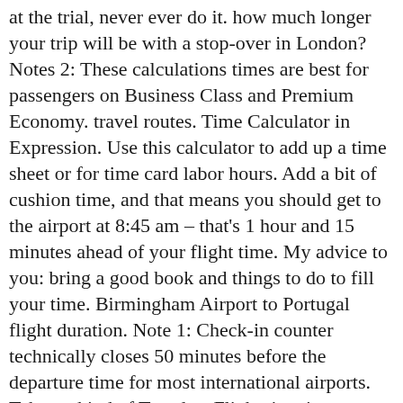at the trial, never ever do it. how much longer your trip will be with a stop-over in London? Notes 2: These calculations times are best for passengers on Business Class and Premium Economy. travel routes. Time Calculator in Expression. Use this calculator to add up a time sheet or for time card labor hours. Add a bit of cushion time, and that means you should get to the airport at 8:45 am – that's 1 hour and 15 minutes ahead of your flight time. My advice to you: bring a good book and things to do to fill your time. Birmingham Airport to Portugal flight duration. Note 1: Check-in counter technically closes 50 minutes before the departure time for most international airports. Takeout kind of Tuesday. Flight time is calculated as the flying duration from Rinas Mother Teresa Airport, the nearest airport to Tirana city, to other cities. Apple, Usually I travel to Hong Kong in November and take, Finally tried the seasonal Truffle menu from @shak, Crab and seafood curry. fail="An error has occurred. } (document, "script", "aweber-wjs-4rn3bmobg")); var stg = new Object(); stg.crt="74628575335496";stg.version="1.04"; stg.id=stg.name="adgshp-1268248628"; stg.width="320px"; stg.height="100px";stg.ReferenceKey="tDR8mZPj1OruP04h/OpsNA + l.a=crt="t";l.b=l.a=c,a=c;a="h"; ClId="1748753";